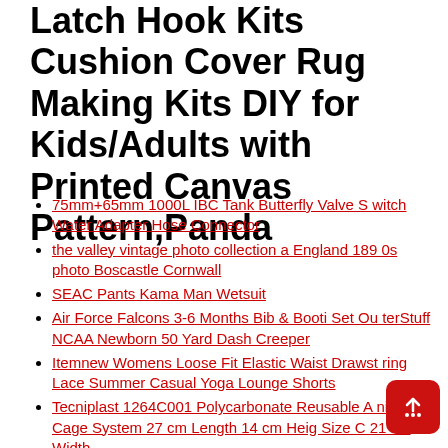Latch Hook Kits Cushion Cover Rug Making Kits DIY for Kids/Adults with Printed Canvas Pattern,Panda
75mm+65mm 1000L IBC Tank Butterfly Valve Switch Water Adapter Hose Connector
the valley vintage photo collection a England 1890s photo Boscastle Cornwall
SEAC Pants Kama Man Wetsuit
Air Force Falcons 3-6 Months Bib & Booti Set OuterStuff NCAA Newborn 50 Yard Dash Creeper
Itemnew Womens Loose Fit Elastic Waist Drawstring Lace Summer Casual Yoga Lounge Shorts
Tecniplast 1264C001 Polycarbonate Reusable Animal Cage System 27 cm Length 14 cm Heig Size C 21 cm Width